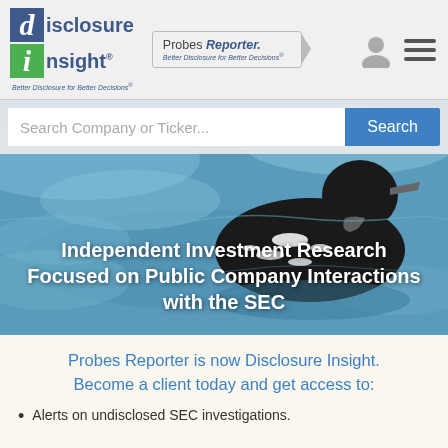[Figure (logo): Disclosure Insight logo with blue 'd' box, green 'i' box, and tagline 'Better Disclosure for Better Decisions']
[Figure (logo): Probes Reporter logo pill with arrow shape and tagline 'Better Disclosure for Better Decisions']
[Figure (screenshot): Search bar with placeholder 'Search Company or Ticker...' and blue Search button]
[Figure (photo): Hero image of a loon bird on blue water with headline text overlay]
Independent Investment Research Focused on Public Company Interactions with the SEC
Probes Reporter is now Disclosure Insight. Become a client today and get access to:
Alerts on undisclosed SEC investigations.